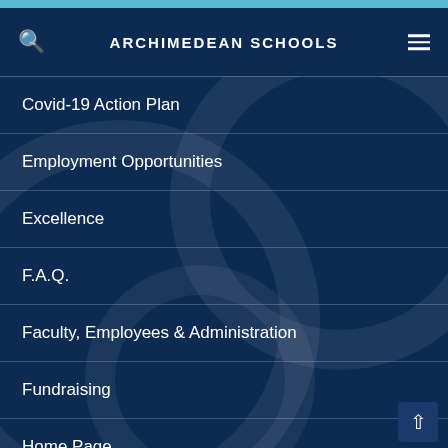ARCHIMEDEAN SCHOOLS
Covid-19 Action Plan
Employment Opportunities
Excellence
F.A.Q.
Faculty, Employees & Administration
Fundraising
Home Page
International Greek Certificate